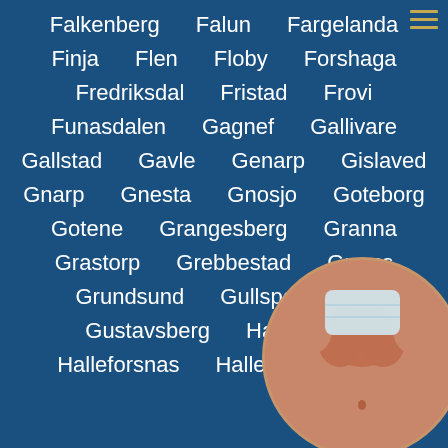Falkenberg   Falun   Fargelanda
Finja   Flen   Floby   Forshaga
Fredriksdal   Fristad   Frovi
Funasdalen   Gagnef   Gallivare
Gallstad   Gavle   Genarp   Gislaved
Gnarp   Gnesta   Gnosjo   Goteborg
Gotene   Grangesberg   Granna
Grastorp   Grebbestad   Grums
Grundsund   Gullspang   G...
Gustavsberg   Habo   Ha...
Halleforsnas   Hallen   Hallevik
[Figure (photo): Circular cropped photo of a woman holding a face mask, overlaid on the bottom-right of the page]